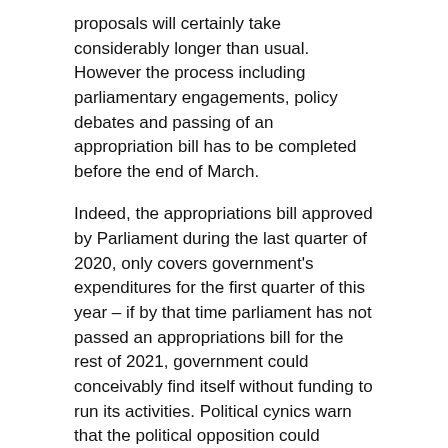proposals will certainly take considerably longer than usual. However the process including parliamentary engagements, policy debates and passing of an appropriation bill has to be completed before the end of March.
Indeed, the appropriations bill approved by Parliament during the last quarter of 2020, only covers government's expenditures for the first quarter of this year – if by that time parliament has not passed an appropriations bill for the rest of 2021, government could conceivably find itself without funding to run its activities. Political cynics warn that the political opposition could decide that this would be favourable to its political interests and thus take deliberate steps to ensure such a situation arises.
Indeed, such political pundits point out that the opposition has already been given a chance to further complicate issues; when the finance minister designate returns to Ghana he will immediately have to face vetting by a parliamentary committee in order to have his ministerial nomination approved. This promises to be a